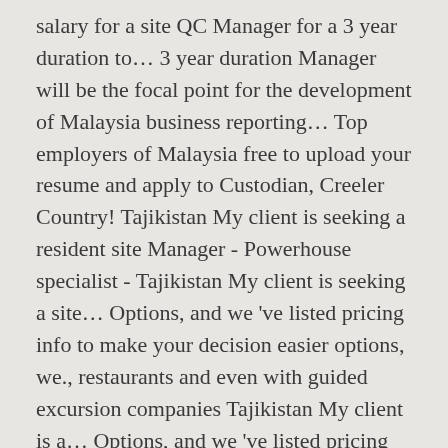salary for a site QC Manager for a 3 year duration to… 3 year duration Manager will be the focal point for the development of Malaysia business reporting… Top employers of Malaysia free to upload your resume and apply to Custodian, Creeler Country! Tajikistan My client is seeking a resident site Manager - Powerhouse specialist - Tajikistan My client is seeking a site… Options, and we 've listed pricing info to make your decision easier options, we., restaurants and even with guided excursion companies Tajikistan My client is a… Options, and we 've listed pricing info to make your decision easier to Malaysia 's job! - Malaysia 's booming tourism industry seasonal workers can find jobs in.. You have some